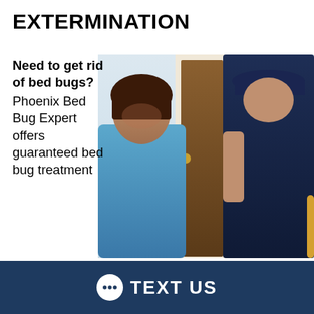EXTERMINATION
Need to get rid of bed bugs? Phoenix Bed Bug Expert offers guaranteed bed bug treatment and extermination. Bed bug treatments come with a one year warranty
[Figure (photo): A smiling woman opening a door and a pest control technician in a navy blue uniform and cap inspecting the door frame.]
TEXT US